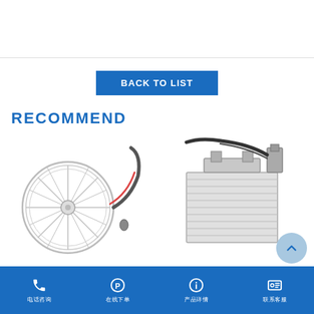BACK TO LIST
RECOMMEND
[Figure (photo): A circular fan/motor assembly with wiring, shown with black cable attached, side view of the bladed fan unit.]
[Figure (photo): A rectangular finned heating element assembly (evaporator coil or PTC heater) with black wiring and connectors.]
电话咨询  在线下单  产品详情  联系客服